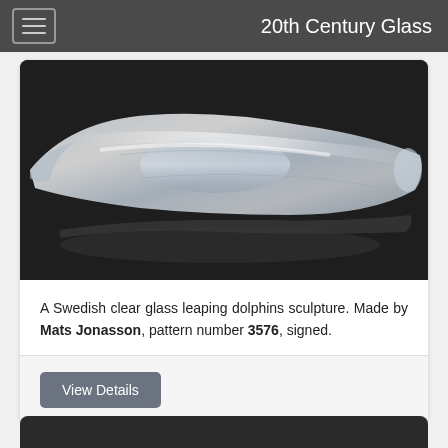20th Century Glass
[Figure (photo): Close-up photograph of a Swedish clear glass leaping dolphins sculpture against a dark background, showing the transparent glass form and reflections.]
A Swedish clear glass leaping dolphins sculpture. Made by Mats Jonasson, pattern number 3576, signed.
View Details